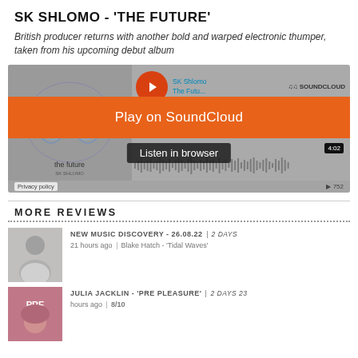SK SHLOMO - 'THE FUTURE'
British producer returns with another bold and warped electronic thumper, taken from his upcoming debut album
[Figure (screenshot): SoundCloud embed player for SK Shlomo 'The Future' showing album artwork, orange play overlay bar reading 'Play on SoundCloud', 'Listen in browser' button, waveform, and 4:02 duration with 752 plays.]
MORE REVIEWS
[Figure (photo): Thumbnail photo of a man (Blake Hatch) in grey shirt]
NEW MUSIC DISCOVERY - 26.08.22  |  2 days  21 hours ago  |  Blake Hatch - 'Tidal Waves'
[Figure (photo): Thumbnail for Julia Jacklin 'Pre Pleasure' album with PRE text overlay]
JULIA JACKLIN - 'PRE PLEASURE'  |  2 days 23 hours ago  |  8/10